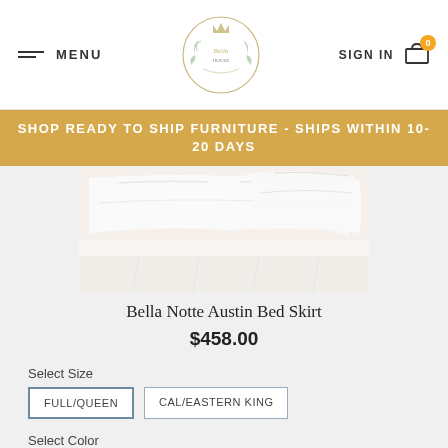MENU | The Bella House Logo | SIGN IN | Cart (0)
SHOP READY TO SHIP FURNITURE - SHIPS WITHIN 10-20 DAYS
[Figure (photo): White bed skirt product photo showing crisp white fabric draped over a bed]
Bella Notte Austin Bed Skirt
$458.00
Select Size
FULL/QUEEN
CAL/EASTERN KING
Select Color